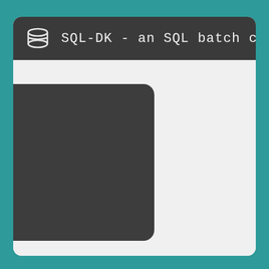[Figure (screenshot): Application window screenshot showing SQL-DK SQL batch client. Dark title bar with database icon and title text 'SQL-DK - an SQL batch client' in monospace handwriting-style font. Light gray content area below with a dark rounded panel on the left side.]